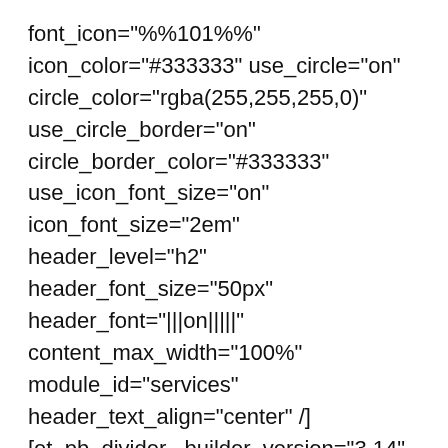font_icon="%%101%%" icon_color="#333333" use_circle="on" circle_color="rgba(255,255,255,0)" use_circle_border="on" circle_border_color="#333333" use_icon_font_size="on" icon_font_size="2em" header_level="h2" header_font_size="50px" header_font="|||on|||||" content_max_width="100%" module_id="services" header_text_align="center" /] [et_pb_divider _builder_version="3.14" color="#dddddd" divider_style="double" divider_position="center" /] [/et_pb_column][/et_pb_row]